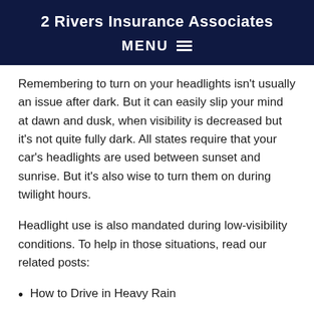2 Rivers Insurance Associates
MENU
Remembering to turn on your headlights isn't usually an issue after dark. But it can easily slip your mind at dawn and dusk, when visibility is decreased but it's not quite fully dark. All states require that your car's headlights are used between sunset and sunrise. But it's also wise to turn them on during twilight hours.
Headlight use is also mandated during low-visibility conditions. To help in those situations, read our related posts:
How to Drive in Heavy Rain